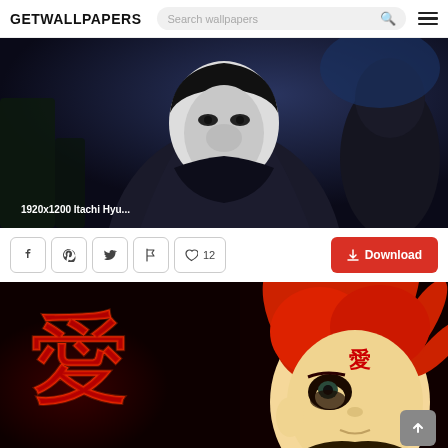GETWALLPAPERS
[Figure (screenshot): Anime wallpaper screenshot showing Itachi Hyuuga character in dark tones, 3D rendered style. Label reads '1920x1200 Itachi Hyu...']
1920x1200 Itachi Hyu...
[Figure (screenshot): Social action bar with Facebook, Pinterest, Twitter, Flag icons, heart/like counter showing 12, and a red Download button]
[Figure (illustration): Anime wallpaper of Gaara from Naruto with red hair and kanji love symbol on dark background]